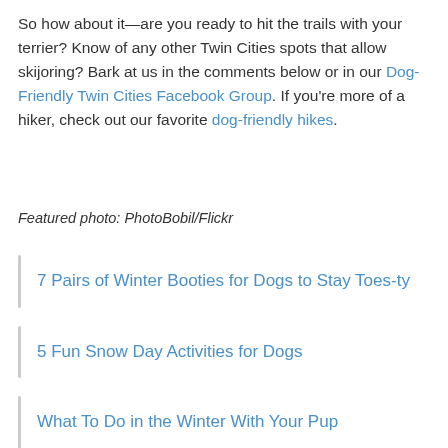So how about it—are you ready to hit the trails with your terrier? Know of any other Twin Cities spots that allow skijoring? Bark at us in the comments below or in our Dog-Friendly Twin Cities Facebook Group. If you're more of a hiker, check out our favorite dog-friendly hikes.
Featured photo: PhotoBobil/Flickr
7 Pairs of Winter Booties for Dogs to Stay Toes-ty
5 Fun Snow Day Activities for Dogs
What To Do in the Winter With Your Pup